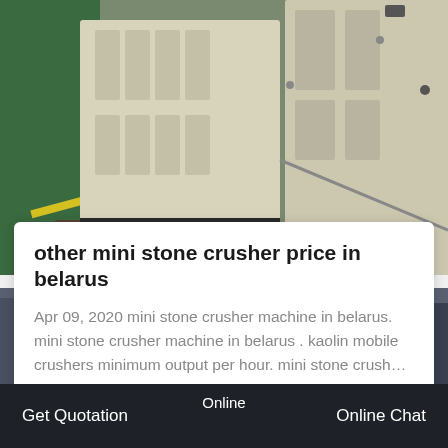[Figure (photo): Industrial stone crusher machine components shown in cream/white color, photographed in a factory/workshop setting with green floor visible]
other mini stone crusher price in belarus
Apr 09, 2020 mini stone crusher machine in belarus. mini stone crusher machine in belarus . kaolin mobile crushers minimum output per hour. mini stone crush…
Get Price
[Figure (photo): Partial view of industrial machinery/equipment in an outdoor or semi-outdoor setting, with yellow circular element visible]
Get Quotation   Online   Online Chat